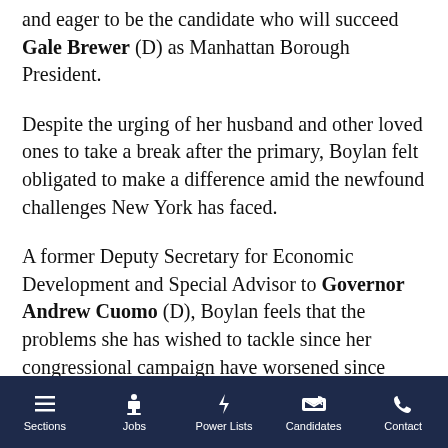and eager to be the candidate who will succeed Gale Brewer (D) as Manhattan Borough President.
Despite the urging of her husband and other loved ones to take a break after the primary, Boylan felt obligated to make a difference amid the newfound challenges New York has faced.
A former Deputy Secretary for Economic Development and Special Advisor to Governor Andrew Cuomo (D), Boylan feels that the problems she has wished to tackle since her congressional campaign have worsened since June.
“We are in the middle of a second spike in this
Sections  Jobs  Power Lists  Candidates  Contact